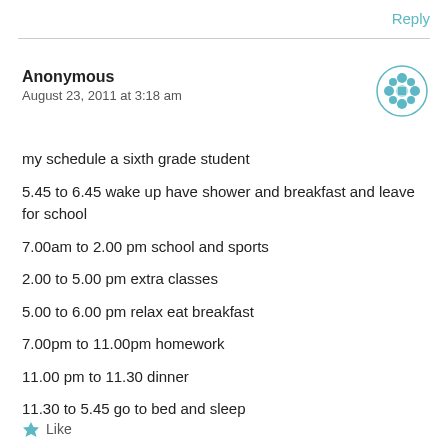Reply
Anonymous
August 23, 2011 at 3:18 am
my schedule a sixth grade student

5.45 to 6.45 wake up have shower and breakfast and leave for school
7.00am to 2.00 pm school and sports
2.00 to 5.00 pm extra classes
5.00 to 6.00 pm relax eat breakfast
7.00pm to 11.00pm homework
11.00 pm to 11.30 dinner
11.30 to 5.45 go to bed and sleep
Like